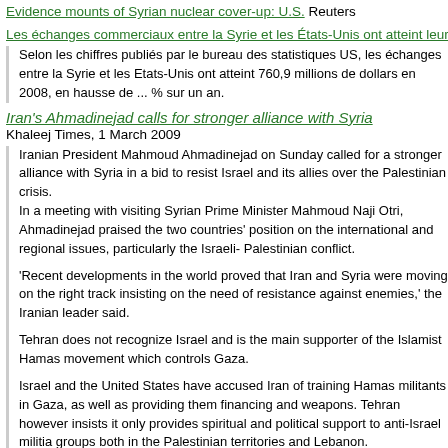Evidence mounts of Syrian nuclear cover-up: U.S. Reuters
Les échanges commerciaux entre la Syrie et les États-Unis ont atteint leur
Selon les chiffres publiés par le bureau des statistiques US, les échanges entre la Syrie et les Etats-Unis ont atteint 760,9 millions de dollars en 2008, en hausse de ... % sur un an.
Iran's Ahmadinejad calls for stronger alliance with Syria
Khaleej Times, 1 March 2009
Iranian President Mahmoud Ahmadinejad on Sunday called for a stronger alliance with Syria in a bid to resist Israel and its allies over the Palestinian crisis.
In a meeting with visiting Syrian Prime Minister Mahmoud Naji Otri, Ahmadinejad praised the two countries' position on the international and regional issues, particularly the Israeli- Palestinian conflict.
'Recent developments in the world proved that Iran and Syria were moving on the right track insisting on the need of resistance against enemies,' the Iranian leader said.
Tehran does not recognize Israel and is the main supporter of the Islamist Hamas movement which controls Gaza.
Israel and the United States have accused Iran of training Hamas militants in Gaza, as well as providing them financing and weapons. Tehran however insists it only provides spiritual and political support to anti-Israel militia groups both in the Palestinian territories and Lebanon.
'If Iran and Syria have an eminent position in the region, it is because of their resistance based on their correct decisions,' Ahmadinejad was quoted as saying by the website of state television IRIB.